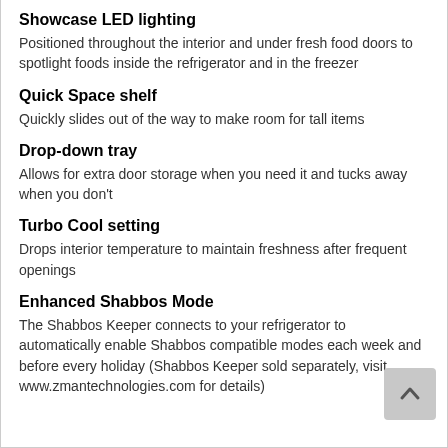Showcase LED lighting
Positioned throughout the interior and under fresh food doors to spotlight foods inside the refrigerator and in the freezer
Quick Space shelf
Quickly slides out of the way to make room for tall items
Drop-down tray
Allows for extra door storage when you need it and tucks away when you don't
Turbo Cool setting
Drops interior temperature to maintain freshness after frequent openings
Enhanced Shabbos Mode
The Shabbos Keeper connects to your refrigerator to automatically enable Shabbos compatible modes each week and before every holiday (Shabbos Keeper sold separately, visit www.zmantechnologies.com for details)